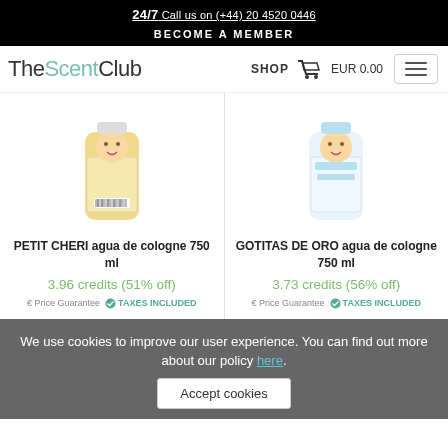24/7 Call us on (+44) 20 4520 0446
BECOME A MEMBER
TheScentClub SHOP EUR 0.00
[Figure (photo): Product image of PETIT CHERI agua de cologne 750 ml bottle with baby on label]
PETIT CHERI agua de cologne 750 ml
3.96 credits (51% off)
€ Price Guarantee  ✓ TAXES INCLUDED
[Figure (photo): Product image of GOTITAS DE ORO agua de cologne 750 ml bottle with baby on label]
GOTITAS DE ORO agua de cologne 750 ml
3.73 credits (56% off)
€ Price Guarantee  ✓ TAXES INCLUDED
We use cookies to improve our user experience. You can find out more about our policy here.
Accept cookies